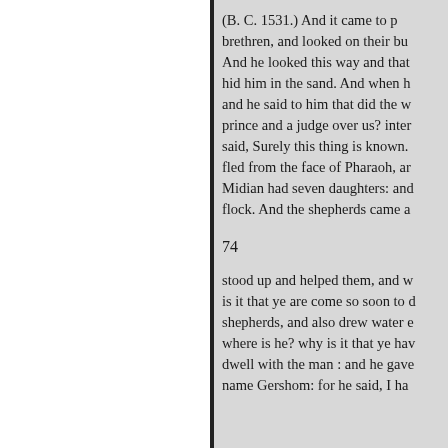(B. C. 1531.) And it came to p brethren, and looked on their bu And he looked this way and that hid him in the sand. And when h and he said to him that did the w prince and a judge over us? inter said, Surely this thing is known. fled from the face of Pharaoh, ar Midian had seven daughters: and flock. And the shepherds came a
74
stood up and helped them, and w is it that ye are come so soon to d shepherds, and also drew water e where is he? why is it that ye hav dwell with the man : and he gave name Gershom: for he said, I ha